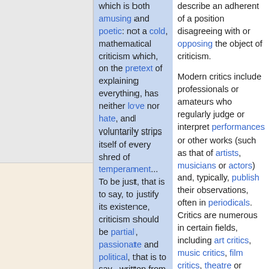which is both amusing and poetic: not a cold, mathematical criticism which, on the pretext of explaining everything, has neither love nor hate, and voluntarily strips itself of every shred of temperament... To be just, that is to say, to justify its existence, criticism should be partial, passionate and political, that is to say , written from an exclusive point of view, but a point of view that
describe an adherent of a position disagreeing with or opposing the object of criticism. Modern critics include professionals or amateurs who regularly judge or interpret performances or other works (such as that of artists, musicians or actors) and, typically, publish their observations, often in periodicals. Critics are numerous in certain fields, including art critics, music critics, film critics, theatre or drama, and cultural critics.